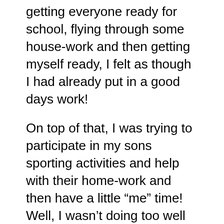getting everyone ready for school, flying through some house-work and then getting myself ready, I felt as though I had already put in a good days work!
On top of that, I was trying to participate in my sons sporting activities and help with their home-work and then have a little “me” time! Well, I wasn’t doing too well in any area and I knew that I was the only one that could change the situation I was in.
So one day an email arrived in my inbox regarding a home-based business and I thought Wow, this really sounds like what I need. As it turned out it wasn’t the business I ended up choosing, but I am